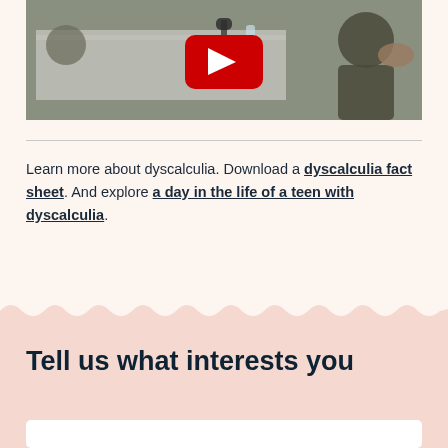[Figure (screenshot): Video thumbnail showing a panel discussion at a table with a YouTube play button overlay. People seated at a white-cloth covered table with microphones and water bottles.]
Learn more about dyscalculia. Download a dyscalculia fact sheet. And explore a day in the life of a teen with dyscalculia.
Tell us what interests you